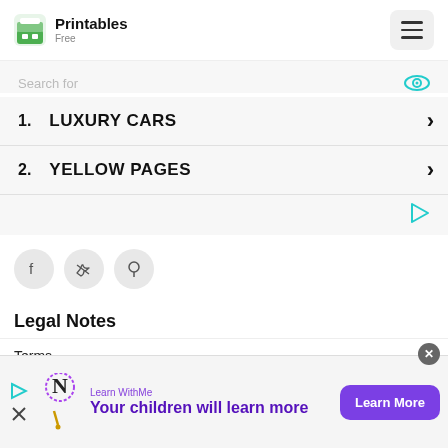Printables Free — navigation header with hamburger menu
Search for
1. LUXURY CARS
2. YELLOW PAGES
[Figure (infographic): Social share icons: Facebook, Twitter, Pinterest]
Legal Notes
Terms
Privacy
[Figure (infographic): Ad banner: Learn WithMe — Your children will learn more — Learn More button]